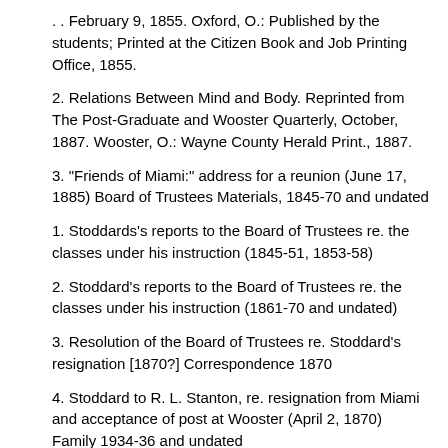. . February 9, 1855. Oxford, O.: Published by the students; Printed at the Citizen Book and Job Printing Office, 1855.
2. Relations Between Mind and Body. Reprinted from The Post-Graduate and Wooster Quarterly, October, 1887. Wooster, O.: Wayne County Herald Print., 1887.
3. "Friends of Miami:" address for a reunion (June 17, 1885) Board of Trustees Materials, 1845-70 and undated
1. Stoddards's reports to the Board of Trustees re. the classes under his instruction (1845-51, 1853-58)
2. Stoddard's reports to the Board of Trustees re. the classes under his instruction (1861-70 and undated)
3. Resolution of the Board of Trustees re. Stoddard's resignation [1870?] Correspondence 1870
4. Stoddard to R. L. Stanton, re. resignation from Miami and acceptance of post at Wooster (April 2, 1870) Family 1934-36 and undated
1. Family
a. Mary Stoddard Longbrake, Dayton, Ohio, to Alfred Upham, letter